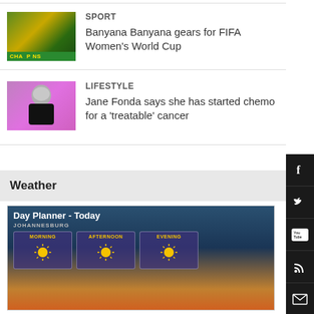[Figure (photo): Sport news thumbnail showing Banyana Banyana team celebrating with green and yellow jerseys, with a 'CHAMPIONS' banner]
SPORT
Banyana Banyana gears for FIFA Women's World Cup
[Figure (photo): Lifestyle news thumbnail showing a woman with silver/grey short hair against a pink/purple background]
LIFESTYLE
Jane Fonda says she has started chemo for a 'treatable' cancer
Weather
[Figure (screenshot): Day Planner - Today weather widget for Johannesburg showing MORNING, AFTERNOON, EVENING panels each with a sun icon]
Day Planner - Today — JOHANNESBURG